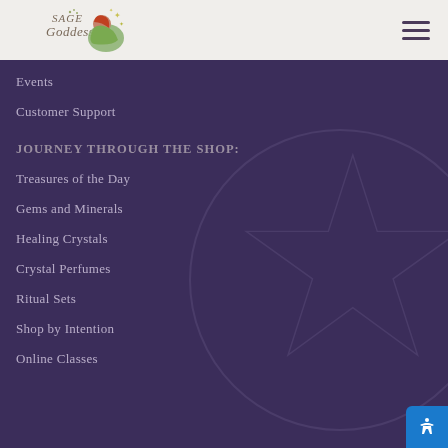[Figure (logo): Sage Goddess logo with woman sitting and sparkles]
Events
Customer Support
JOURNEY THROUGH THE SHOP:
Treasures of the Day
Gems and Minerals
Healing Crystals
Crystal Perfumes
Ritual Sets
Shop by Intention
Online Classes